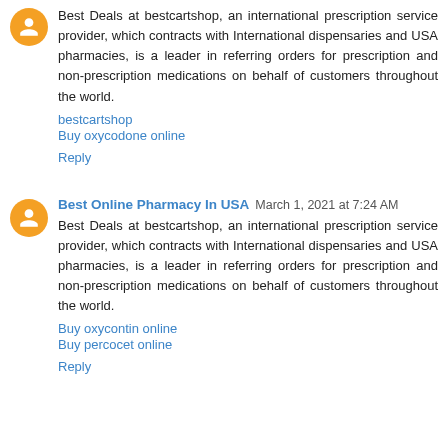Best Deals at bestcartshop, an international prescription service provider, which contracts with International dispensaries and USA pharmacies, is a leader in referring orders for prescription and non-prescription medications on behalf of customers throughout the world.
bestcartshop
Buy oxycodone online
Reply
Best Online Pharmacy In USA  March 1, 2021 at 7:24 AM
Best Deals at bestcartshop, an international prescription service provider, which contracts with International dispensaries and USA pharmacies, is a leader in referring orders for prescription and non-prescription medications on behalf of customers throughout the world.
Buy oxycontin online
Buy percocet online
Reply